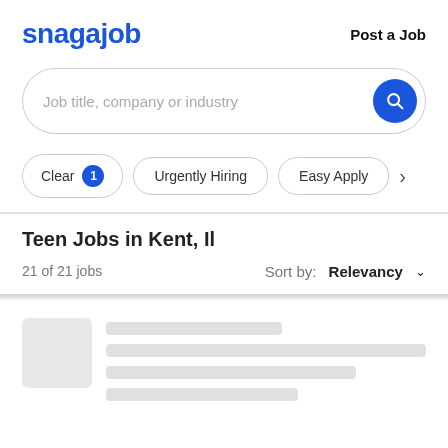[Figure (logo): Snagajob logo in blue bold text]
Post a Job
[Figure (screenshot): Search bar with placeholder text 'Job title, company or industry' and blue circular search button]
Clear 1
Urgently Hiring
Easy Apply
Teen Jobs in Kent, Il
21 of 21 jobs
Sort by: Relevancy
[Figure (other): Loading skeleton placeholder card with grey image box and grey lines]